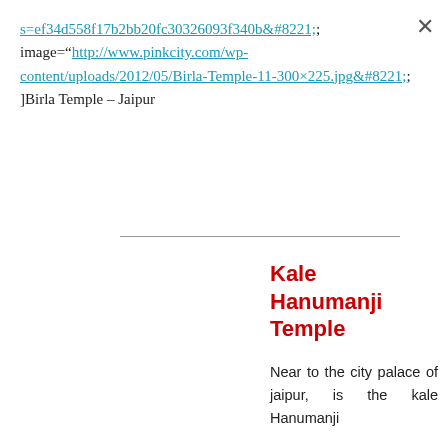s=ef34d558f17b2bb20fc30326093f340b&#8221;; image="http://www.pinkcity.com/wp-content/uploads/2012/05/Birla-Temple-11-300×225.jpg&#8221;; ]Birla Temple – Jaipur
Kale Hanumanji Temple
Near to the city palace of jaipur, is the kale Hanumanji